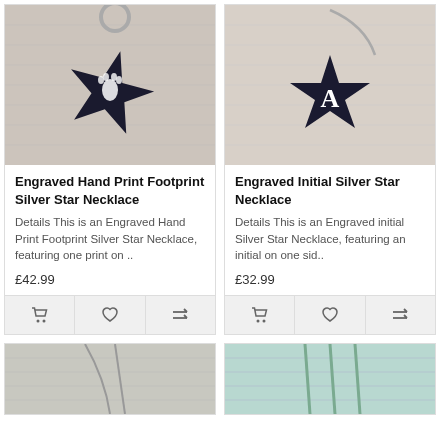[Figure (photo): Engraved Hand Print Footprint Silver Star Necklace product photo - black star shaped pendant with footprint engraving on a keyring]
Engraved Hand Print Footprint Silver Star Necklace
Details This is an Engraved Hand Print Footprint Silver Star Necklace, featuring one print on ..
£42.99
[Figure (photo): Engraved Initial Silver Star Necklace product photo - black star shaped pendant with letter A engraving on a wire necklace]
Engraved Initial Silver Star Necklace
Details This is an Engraved initial Silver Star Necklace, featuring an initial on one sid..
£32.99
[Figure (photo): Bottom left product photo - light colored necklace on wood surface]
[Figure (photo): Bottom right product photo - light green/teal earrings or jewelry on wood surface]